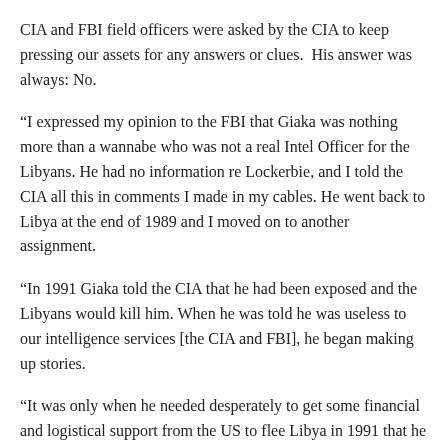CIA and FBI field officers were asked by the CIA to keep pressing our assets for any answers or clues.  His answer was always: No.
“I expressed my opinion to the FBI that Giaka was nothing more than a wannabe who was not a real Intel Officer for the Libyans. He had no information re Lockerbie, and I told the CIA all this in comments I made in my cables. He went back to Libya at the end of 1989 and I moved on to another assignment.
“In 1991 Giaka told the CIA that he had been exposed and the Libyans would kill him. When he was told he was useless to our intelligence services [the CIA and FBI], he began making up stories.
“It was only when he needed desperately to get some financial and logistical support from the US to flee Libya in 1991 that he started telling the CIA things relevant to the PanAm-103 bombings – like hearing Megrahi and another man talking about a plan to bomb an American airliner.”